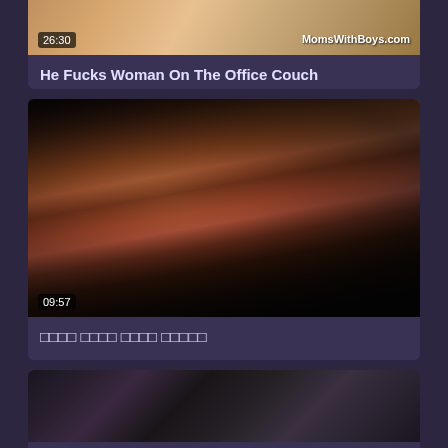[Figure (screenshot): Partial video thumbnail at top - skin tones, adult content]
He Fucks Woman On The Office Couch
[Figure (screenshot): Video thumbnail 09:57 - adult content, woman lying on patterned couch]
हिंदी वीडियो सेक्स क्लिप
[Figure (screenshot): Partial video thumbnail at bottom - adult content]